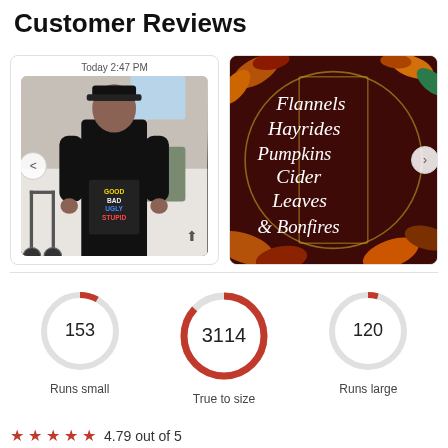Customer Reviews
[Figure (photo): Customer photo showing person wearing a black shirt with text GOOD BAD UGLY STUPID, standing in a room with a walker]
[Figure (photo): Fall-themed graphic with script text: Flannels Hayrides Pumpkins Cider Leaves & Bonfires, decorated with autumn leaves on dark red background]
[Figure (donut-chart): Donut ring showing 153 - Runs small, small red arc indicator]
[Figure (donut-chart): Donut ring showing 3114 - True to size, large red arc indicating majority]
[Figure (donut-chart): Donut ring showing 120 - Runs large, small red arc indicator]
4.79 out of 5